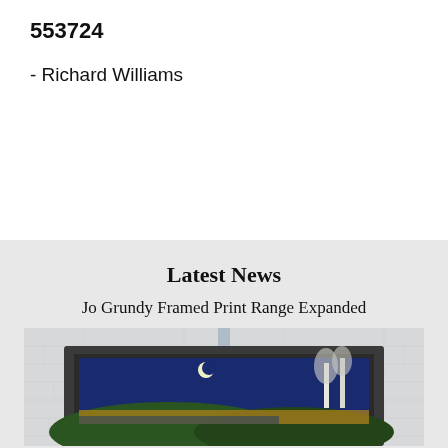553724
- Richard Williams
Latest News
Jo Grundy Framed Print Range Expanded
[Figure (photo): A framed art print hanging on a pale brick wall, showing a dark blue night landscape with trees and a crescent moon, in a dark grey frame]